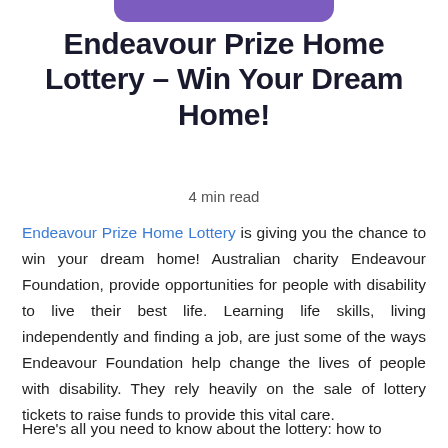Endeavour Prize Home Lottery – Win Your Dream Home!
4 min read
Endeavour Prize Home Lottery is giving you the chance to win your dream home! Australian charity Endeavour Foundation, provide opportunities for people with disability to live their best life. Learning life skills, living independently and finding a job, are just some of the ways Endeavour Foundation help change the lives of people with disability. They rely heavily on the sale of lottery tickets to raise funds to provide this vital care.
Here's all you need to know about the lottery: how to